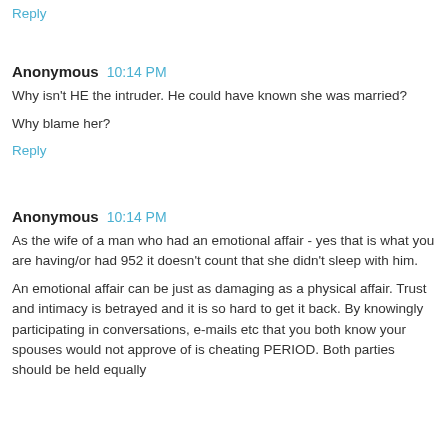Reply
Anonymous 10:14 PM
Why isn't HE the intruder. He could have known she was married?
Why blame her?
Reply
Anonymous 10:14 PM
As the wife of a man who had an emotional affair - yes that is what you are having/or had 952 it doesn't count that she didn't sleep with him.
An emotional affair can be just as damaging as a physical affair. Trust and intimacy is betrayed and it is so hard to get it back. By knowingly participating in conversations, e-mails etc that you both know your spouses would not approve of is cheating PERIOD. Both parties should be held equally